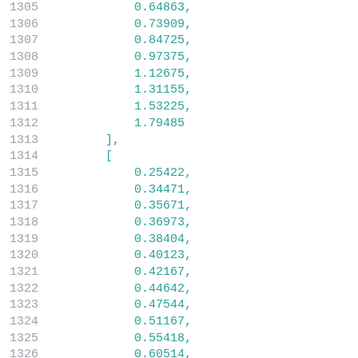1305    0.64863,
1306    0.73909,
1307    0.84725,
1308    0.97375,
1309    1.12675,
1310    1.31155,
1311    1.53225,
1312    1.79485
1313    ],
1314    [
1315    0.25422,
1316    0.34471,
1317    0.35671,
1318    0.36973,
1319    0.38404,
1320    0.40123,
1321    0.42167,
1322    0.44642,
1323    0.47544,
1324    0.51167,
1325    0.55418,
1326    0.60514,